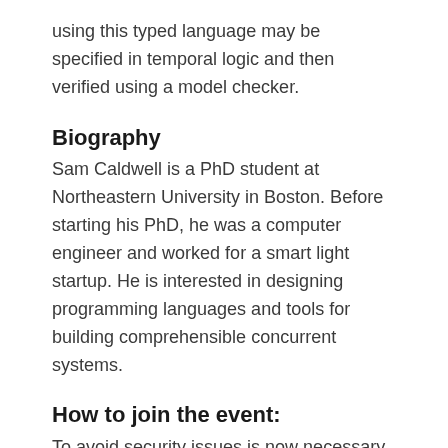using this typed language may be specified in temporal logic and then verified using a model checker.
Biography
Sam Caldwell is a PhD student at Northeastern University in Boston. Before starting his PhD, he was a computer engineer and worked for a smart light startup. He is interested in designing programming languages and tools for building comprehensible concurrent systems.
How to join the event:
To avoid security issues is now necessary to register for the meeting. The registration should be necessary just once and be valid for all the